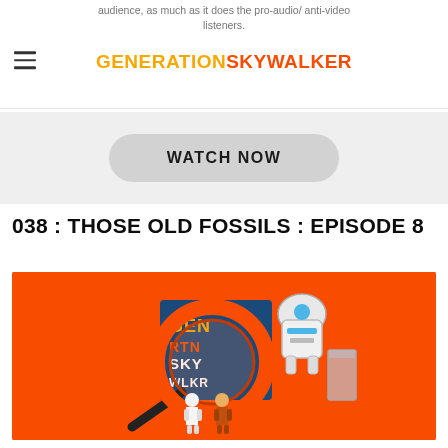audience, as much as it does the pro-audio/ anti-video listeners.
WATCH NOW
038 : THOSE OLD FOSSILS : EPISODE 8
[Figure (illustration): Orange background promotional image with magnifying glass over Generation Skywalker logo box, R2-D2 figure, glass of water, and two Star Wars action figures in the foreground]